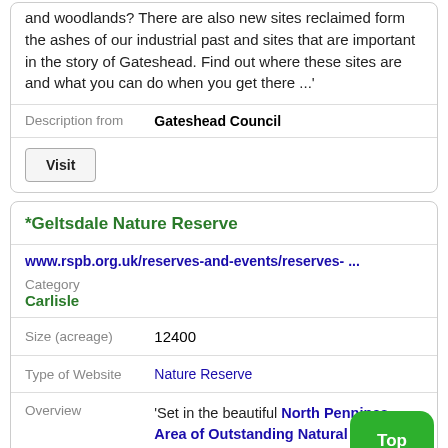and woodlands? There are also new sites reclaimed form the ashes of our industrial past and sites that are important in the story of Gateshead. Find out where these sites are and what you can do when you get there ...'
Description from  Gateshead Council
Visit
*Geltsdale Nature Reserve
www.rspb.org.uk/reserves-and-events/reserves- ...
Category Carlisle
| Size (acreage) |  |
| --- | --- |
| Size (acreage) | 12400 |
| Type of Website |  |
| --- | --- |
| Type of Website | Nature Reserve |
Overview  'Set in the beautiful North Pennines Area of Outstanding Natural Beauty, Geltsdale is